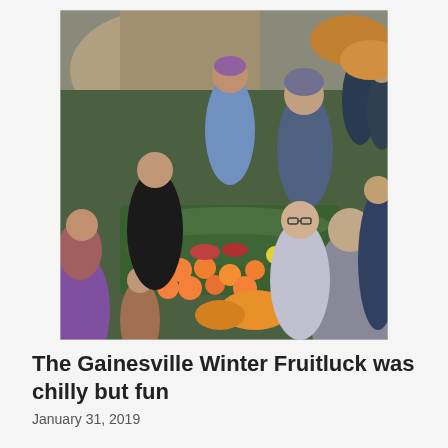[Figure (photo): Outdoor group gathering around a long table covered with banana leaves and piled with tropical fruits including oranges, mangoes, and squash. People of various ages and backgrounds stand around the table examining and handling the fruits. The setting appears to be a wooded or garden area on an overcast day.]
The Gainesville Winter Fruitluck was chilly but fun
January 31, 2019